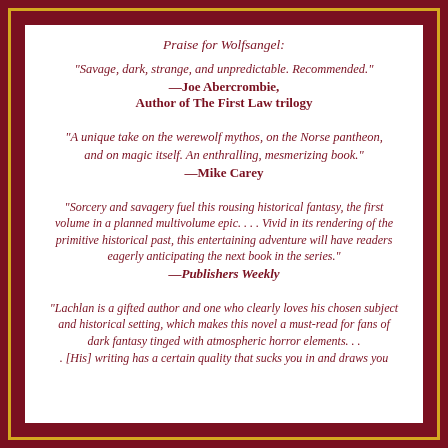Praise for Wolfsangel:
"Savage, dark, strange, and unpredictable. Recommended."
—Joe Abercrombie,
Author of The First Law trilogy
"A unique take on the werewolf mythos, on the Norse pantheon, and on magic itself. An enthralling, mesmerizing book."
—Mike Carey
"Sorcery and savagery fuel this rousing historical fantasy, the first volume in a planned multivolume epic. . . . Vivid in its rendering of the primitive historical past, this entertaining adventure will have readers eagerly anticipating the next book in the series."
—Publishers Weekly
"Lachlan is a gifted author and one who clearly loves his chosen subject and historical setting, which makes this novel a must-read for fans of dark fantasy tinged with atmospheric horror elements. . . . [His] writing has a certain quality that sucks you in and draws you